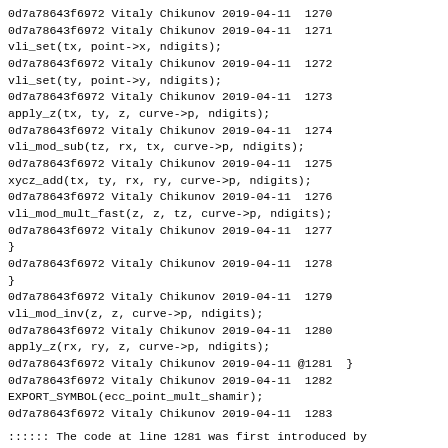0d7a78643f6972 Vitaly Chikunov 2019-04-11  1270
0d7a78643f6972 Vitaly Chikunov 2019-04-11  1271
vli_set(tx, point->x, ndigits);
0d7a78643f6972 Vitaly Chikunov 2019-04-11  1272
vli_set(ty, point->y, ndigits);
0d7a78643f6972 Vitaly Chikunov 2019-04-11  1273
apply_z(tx, ty, z, curve->p, ndigits);
0d7a78643f6972 Vitaly Chikunov 2019-04-11  1274
vli_mod_sub(tz, rx, tx, curve->p, ndigits);
0d7a78643f6972 Vitaly Chikunov 2019-04-11  1275
xycz_add(tx, ty, rx, ry, curve->p, ndigits);
0d7a78643f6972 Vitaly Chikunov 2019-04-11  1276
vli_mod_mult_fast(z, z, tz, curve->p, ndigits);
0d7a78643f6972 Vitaly Chikunov 2019-04-11  1277
}
0d7a78643f6972 Vitaly Chikunov 2019-04-11  1278
}
0d7a78643f6972 Vitaly Chikunov 2019-04-11  1279
vli_mod_inv(z, z, curve->p, ndigits);
0d7a78643f6972 Vitaly Chikunov 2019-04-11  1280
apply_z(rx, ry, z, curve->p, ndigits);
0d7a78643f6972 Vitaly Chikunov 2019-04-11 @1281  }
0d7a78643f6972 Vitaly Chikunov 2019-04-11  1282
EXPORT_SYMBOL(ecc_point_mult_shamir);
0d7a78643f6972 Vitaly Chikunov 2019-04-11  1283
:::::: The code at line 1281 was first introduced by commit
:::::: 0d7a78643f6972214e99205b364e508f8ea9598e crypto: ecrdsa - add EC-RDSA (GOST 34.10) algorithm